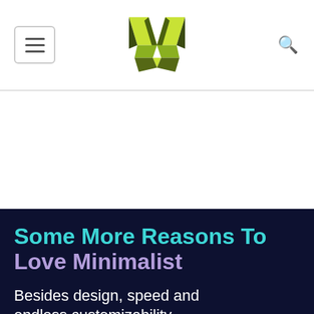Navigation header with menu button, logo, and search icon
[Figure (logo): Minimalist V-shaped geometric logo in lime green and dark green]
Some More Reasons To Love Minimalist
Besides design, speed and endless customizability,